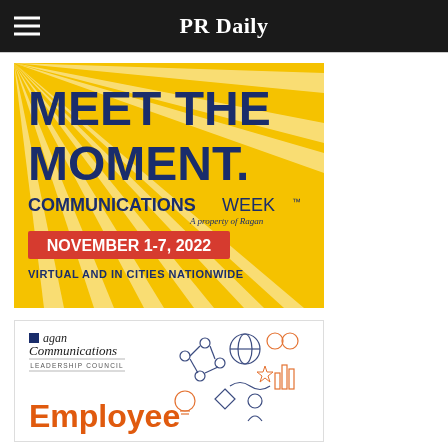PR Daily
[Figure (illustration): Communications Week advertisement on yellow/gold background with sunburst rays. Large bold dark blue text reads MEET THE MOMENT. Below that: COMMUNICATIONS WEEK™ A property of Ragan. Red box with white text: NOVEMBER 1-7, 2022. Below: VIRTUAL AND IN CITIES NATIONWIDE]
[Figure (illustration): Ragan Communications Leadership Council advertisement on white background. Logo in upper left with blue square and italic text Ragan Communications - LEADERSHIP COUNCIL. Orange line art icons of connected figures, globe, charts, lightbulb on right. Large orange text: Employee]